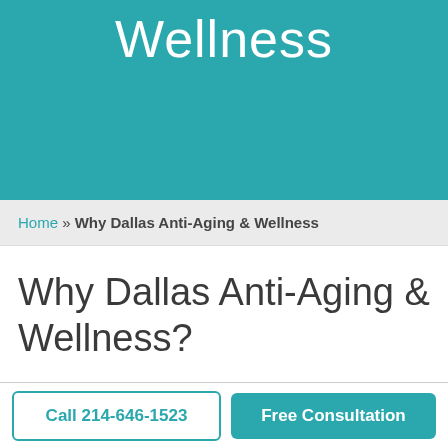Wellness
Home » Why Dallas Anti-Aging & Wellness
Why Dallas Anti-Aging & Wellness?
Preventative, Functional, and Restorative
Call 214-646-1523
Free Consultation